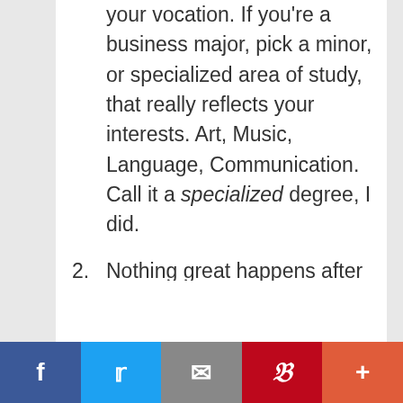your vocation. If you're a business major, pick a minor, or specialized area of study, that really reflects your interests. Art, Music, Language, Communication.  Call it a specialized degree, I did.
2. Nothing great happens after 2 AM. Enjoy yourself but don't try to be the last man standing. The last man standing is rarely standing for long. Get good at Irish goodbyes, slipping away to better things (like a late breakfast with a friend) when most of the